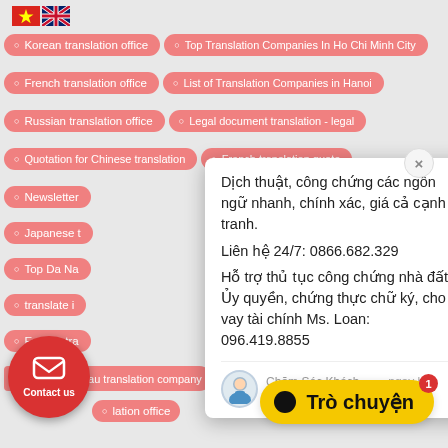[Figure (screenshot): Screenshot of a Vietnamese translation company website with navigation tag buttons, a chat popup overlay, contact us button, and Trò chuyện (chat) button]
Korean translation office
Top Translation Companies In Ho Chi Minh City
French translation office
List of Translation Companies in Hanoi
Russian translation office
Legal document translation - legal
Quotation for Chinese translation
French translation quote
Newsletter
Japanese t...
Top Da Na...
translate i...
English tra...
Dịch thuật, công chứng các ngôn ngữ nhanh, chính xác, giá cả cạnh tranh.
Liên hệ 24/7: 0866.682.329
Hỗ trợ thủ tục công chứng nhà đất, Ủy quyền, chứng thực chữ ký, cho vay tài chính
Ms. Loan: 096.419.8855
Chăm Sóc Khách Hàng    ngay bây giờ
Vung Tau translation company
Medical translation - education
...lation office
Contact us
Trò chuyện